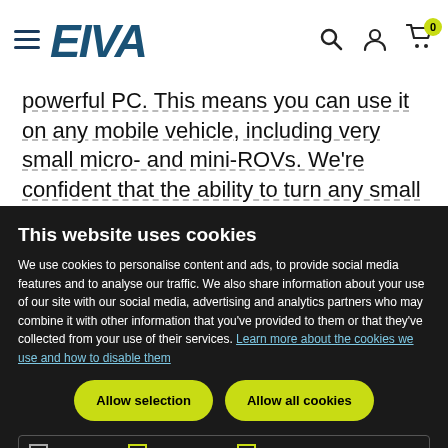EIVA
powerful PC. This means you can use it on any mobile vehicle, including very small micro- and mini-ROVs. We're confident that the ability to turn any small ROV into a powerful scanning tool will open up entirely new possibilities for operators and the market.
This website uses cookies
We use cookies to personalise content and ads, to provide social media features and to analyse our traffic. We also share information about your use of our site with our social media, advertising and analytics partners who may combine it with other information that you've provided to them or that they've collected from your use of their services. Learn more about the cookies we use and how to disable them
Allow selection | Allow all cookies
Necessary | Preferences | Statistics | Marketing | Show details